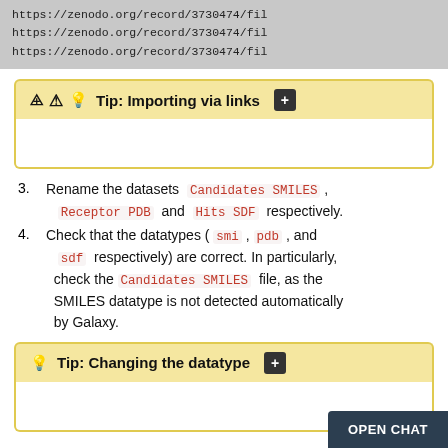https://zenodo.org/record/3730474/fil
https://zenodo.org/record/3730474/fil
https://zenodo.org/record/3730474/fil
[Figure (screenshot): Tip box: 'Tip: Importing via links' with plus icon, collapsed with white body area]
3. Rename the datasets Candidates SMILES , Receptor PDB and Hits SDF respectively.
4. Check that the datatypes ( smi , pdb , and sdf respectively) are correct. In particularly, check the Candidates SMILES file, as the SMILES datatype is not detected automatically by Galaxy.
[Figure (screenshot): Tip box: 'Tip: Changing the datatype' with plus icon, collapsed with white body area]